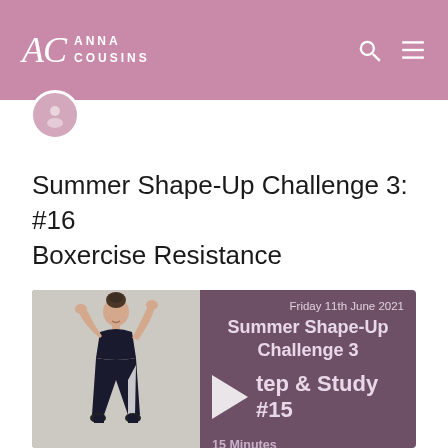AC ANNA COUSINS
Summer Shape-Up Challenge 3: #16 Boxercise Resistance
[Figure (photo): Video thumbnail showing a woman in workout clothes (sports bra and leggings) posing with arms raised, alongside a dark mauve panel showing text: Friday 11th June 2021, Summer Shape-Up Challenge 3, Step & Study #15, 15 Minutes, Get Your Step Count Up]